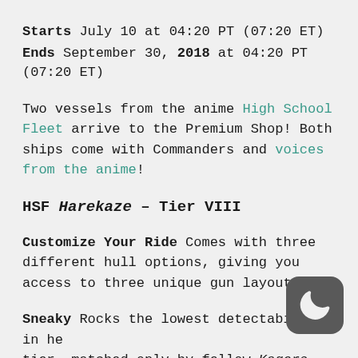Starts July 10 at 04:20 PT (07:20 ET)
Ends September 30, 2018 at 04:20 PT (07:20 ET)
Two vessels from the anime High School Fleet arrive to the Premium Shop! Both ships come with Commanders and voices from the anime!
HSF Harekaze – Tier VIII
Customize Your Ride Comes with three different hull options, giving you access to three unique gun layouts.
Sneaky Rocks the lowest detectability in her tier, matched only by fellow Kagero-class destroyers.